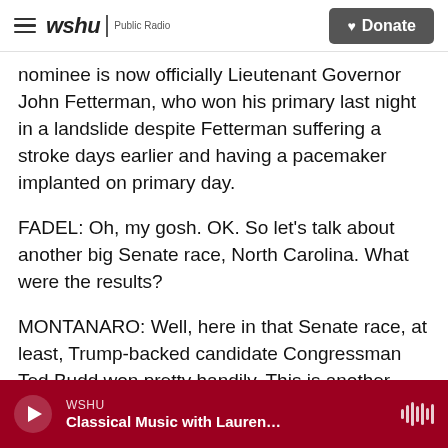wshu | Public Radio  Donate
nominee is now officially Lieutenant Governor John Fetterman, who won his primary last night in a landslide despite Fetterman suffering a stroke days earlier and having a pacemaker implanted on primary day.
FADEL: Oh, my gosh. OK. So let's talk about another big Senate race, North Carolina. What were the results?
MONTANARO: Well, here in that Senate race, at least, Trump-backed candidate Congressman Ted Budd won pretty handily. This is another Senate
WSHU  Classical Music with Lauren...